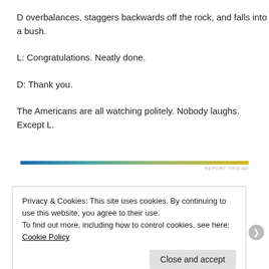D overbalances, staggers backwards off the rock, and falls into a bush.
L: Congratulations. Neatly done.
D: Thank you.
The Americans are all watching politely. Nobody laughs. Except L.
[Figure (other): Horizontal gradient bar from blue on the left to yellow/gold on the right, with 'REPORT THIS AD' text below right.]
Privacy & Cookies: This site uses cookies. By continuing to use this website, you agree to their use.
To find out more, including how to control cookies, see here: Cookie Policy